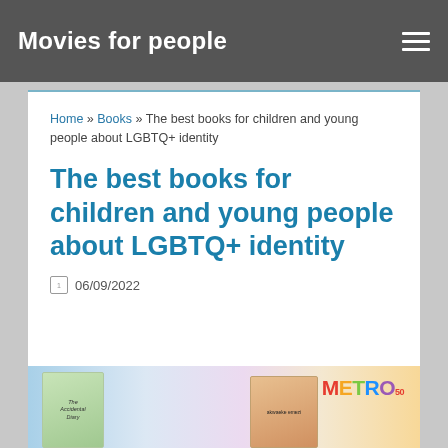Movies for people
Home » Books » The best books for children and young people about LGBTQ+ identity
The best books for children and young people about LGBTQ+ identity
06/09/2022
[Figure (photo): Colorful header image showing book covers and Metro 50 logo]